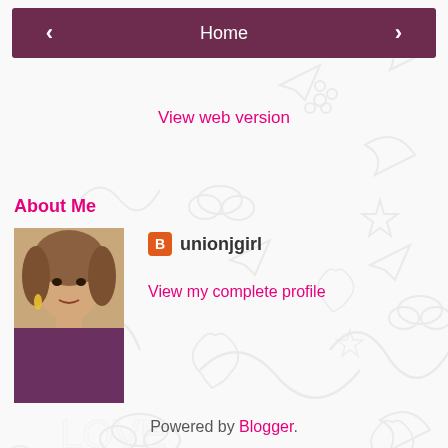< Home >
View web version
About Me
[Figure (photo): Profile photo of unionjgirl blogger]
unionjgirl
View my complete profile
Powered by Blogger.